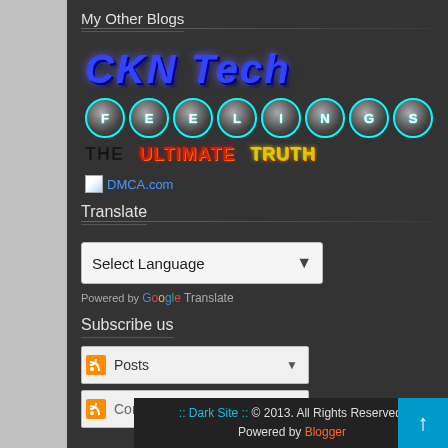My Other Blogs
[Figure (logo): CKN Tech blog logo in blue italic bold text]
[Figure (logo): FEELINGS blog logo with circular letter buttons in cyan/dark style]
[Figure (logo): THE ULTIMATE TRUTH logo: THE in black, ULTIMATE in red, TRUTH in yellow]
[Figure (logo): DMCA.com badge link with small icon]
Translate
Select Language dropdown
Powered by Google Translate
Subscribe us
Posts (RSS subscribe button)
Comments (RSS subscribe button)
:: Dark Site :: © 2013. All Rights Reserved. Powered by Blogger